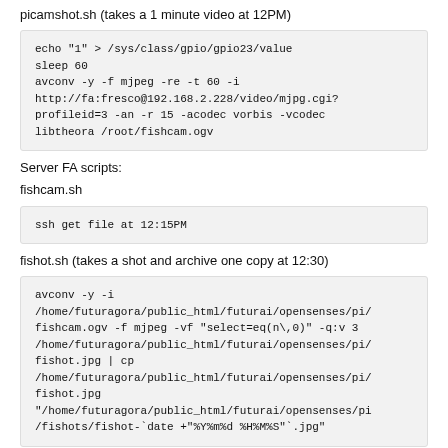picamshot.sh (takes a 1 minute video at 12PM)
echo "1" > /sys/class/gpio/gpio23/value
sleep 60
avconv -y -f mjpeg -re -t 60 -i http://fa:fresco@192.168.2.228/video/mjpg.cgi?profileid=3 -an -r 15 -acodec vorbis -vcodec libtheora /root/fishcam.ogv
Server FA scripts:
fishcam.sh
ssh get file at 12:15PM
fishot.sh (takes a shot and archive one copy at 12:30)
avconv -y -i /home/futuragora/public_html/futurai/opensenses/pi/fishcam.ogv -f mjpeg -vf "select=eq(n\,0)" -q:v 3 /home/futuragora/public_html/futurai/opensenses/pi/fishot.jpg | cp /home/futuragora/public_html/futurai/opensenses/pi/fishot.jpg "/home/futuragora/public_html/futurai/opensenses/pi/fishots/fishot-`date +"%Y%m%d %H%M%S"`.jpg"